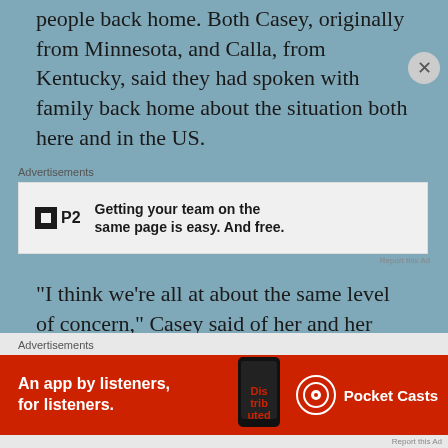people back home. Both Casey, originally from Minnesota, and Calla, from Kentucky, said they had spoken with family back home about the situation both here and in the US.
[Figure (other): P2 advertisement banner: 'Getting your team on the same page is easy. And free.']
“I think we’re all at about the same level of concern,” Casey said of her and her parents. “I’d give that about a six out of 10. I feel much safer being in Spain than if I were back in the states because one, the healthcare system here is very
[Figure (other): Pocket Casts advertisement banner: 'An app by listeners, for listeners.']